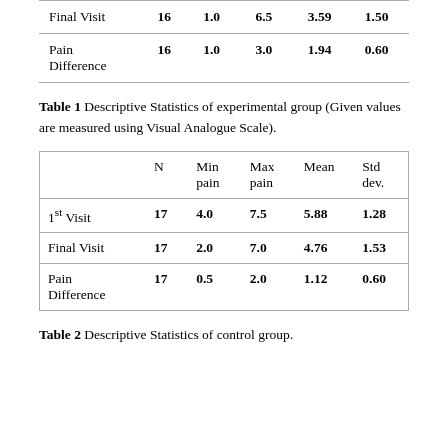|  | N | Min pain | Max pain | Mean | Std dev. |
| --- | --- | --- | --- | --- | --- |
| Final Visit | 16 | 1.0 | 6.5 | 3.59 | 1.50 |
| Pain Difference | 16 | 1.0 | 3.0 | 1.94 | 0.60 |
Table 1 Descriptive Statistics of experimental group (Given values are measured using Visual Analogue Scale).
|  | N | Min pain | Max pain | Mean | Std dev. |
| --- | --- | --- | --- | --- | --- |
| 1st Visit | 17 | 4.0 | 7.5 | 5.88 | 1.28 |
| Final Visit | 17 | 2.0 | 7.0 | 4.76 | 1.53 |
| Pain Difference | 17 | 0.5 | 2.0 | 1.12 | 0.60 |
Table 2 Descriptive Statistics of control group.